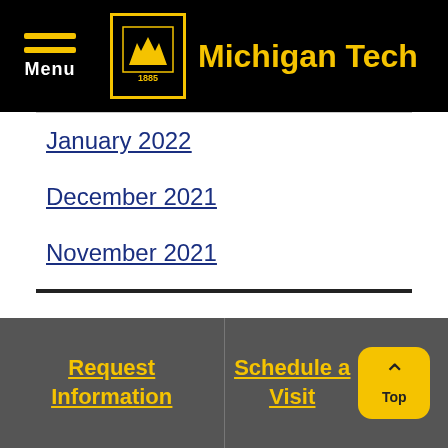Menu | Michigan Tech
January 2022
December 2021
November 2021
October 2021
September 2021
August 2021
April 2021
Request Information | Schedule a Visit | Top